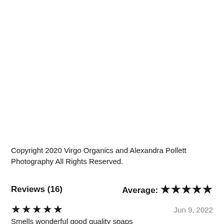Copyright 2020 Virgo Organics and Alexandra Pollett Photography All Rights Reserved.
Reviews (16)   Average: ★★★★★
★★★★★   Jun 9, 2022
Smells wonderful good quality soaps